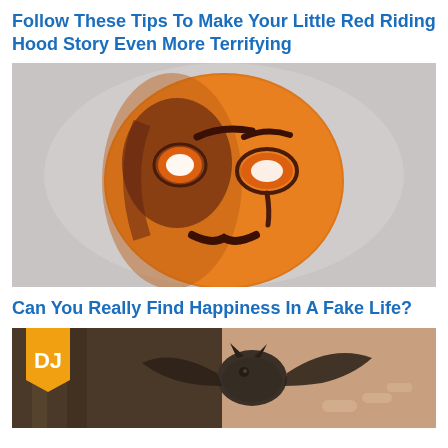Follow These Tips To Make Your Little Red Riding Hood Story Even More Terrifying
[Figure (photo): A painted pumpkin face mask with hollow eyes, dark brown paint markings depicting facial features including eyebrows, teardrop, and mustache, on an orange gourd background with grey backdrop]
Can You Really Find Happiness In A Fake Life?
[Figure (photo): A small bat with wings spread being held in a human hand, with a DJ logo badge in top left corner]